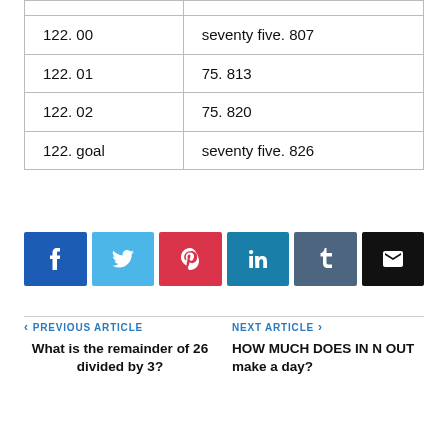|  |  |
| --- | --- |
| 122. 00 | seventy five. 807 |
| 122. 01 | 75. 813 |
| 122. 02 | 75. 820 |
| 122. goal | seventy five. 826 |
[Figure (other): Social sharing buttons: Facebook, Twitter, Pinterest, LinkedIn, Tumblr, Email]
< PREVIOUS ARTICLE
What is the remainder of 26 divided by 3?
NEXT ARTICLE >
HOW MUCH DOES IN N OUT make a day?